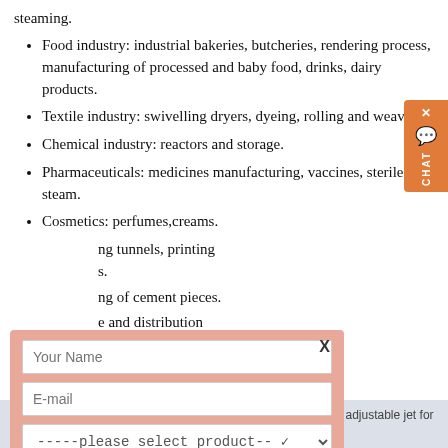steaming.
Food industry: industrial bakeries, butcheries, rendering process, manufacturing of processed and baby food, drinks, dairy products.
Textile industry: swivelling dryers, dyeing, rolling and weaving.
Chemical industry: reactors and storage.
Pharmaceuticals: medicines manufacturing, vaccines, sterile steam.
Cosmetics: perfumes,creams.
...ng tunnels, printing ...s.
...ng of cement pieces.
...e and distribution ...melamine processes.
...king.
...oile industry: metal
[Figure (screenshot): Chat widget on right side, orange background with X close button, chat bubble icon, and CHAT label.]
[Figure (screenshot): Popup contact form with salmon/pink background, X close button, fields for Your Name, E-mail, product select dropdown, capacity, and Submit button.]
Aerators : Manufacturers, Suppliers, Wholesalers and ... Suppl adjustable jet for softer ... The blocks are made to aerate by c